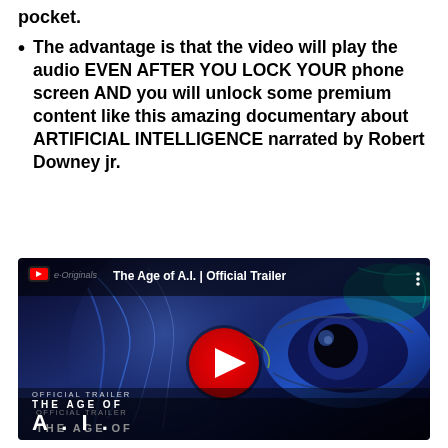pocket.
The advantage is that the video will play the audio EVEN AFTER YOU LOCK YOUR phone screen AND you will unlock some premium content like this amazing documentary about ARTIFICIAL INTELLIGENCE narrated by Robert Downey jr.
[Figure (screenshot): YouTube video thumbnail for 'The Age of A.I. | Official Trailer' by YouTube Originals, showing a futuristic AI face with blue tones, the YouTube play button overlay, and text 'OFFICIAL TRAILER THE AGE OF A.I.' at the bottom left.]